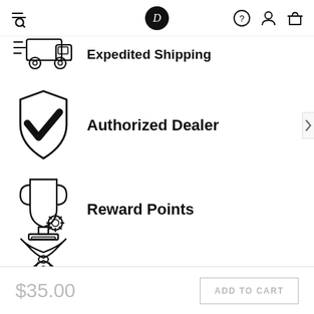D (navigation header with search, user icon, cart)
[Figure (illustration): Expedited shipping truck icon with speed lines (partially visible at top)]
Expedited Shipping
[Figure (illustration): Shield with checkmark icon representing authorized dealer]
Authorized Dealer
[Figure (illustration): Trophy with gear/star icon representing reward points]
Reward Points
[Figure (illustration): Partial icon at bottom (bow/ribbon shape, partially visible)]
$35.00
ADD TO CART